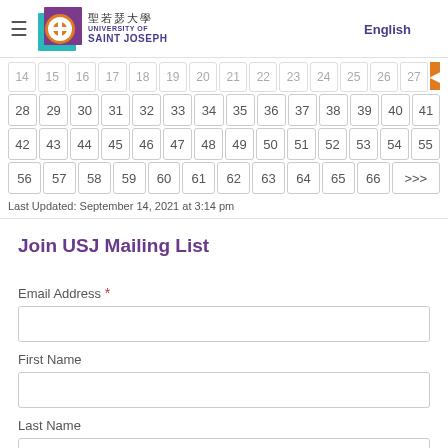University of Saint Joseph — English / 中文
14 15 16 17 18 19 20 21 22 23 24 25 26 27
28 29 30 31 32 33 34 35 36 37 38 39 40 41
42 43 44 45 46 47 48 49 50 51 52 53 54 55
56 57 58 59 60 61 62 63 64 65 66 >>>
Last Updated: September 14, 2021 at 3:14 pm
Join USJ Mailing List
Email Address *
First Name
Last Name